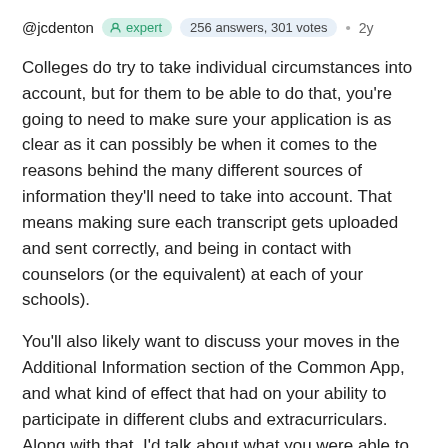@jcdenton  expert  256 answers, 301 votes  •  2y
Colleges do try to take individual circumstances into account, but for them to be able to do that, you're going to need to make sure your application is as clear as it can possibly be when it comes to the reasons behind the many different sources of information they'll need to take into account. That means making sure each transcript gets uploaded and sent correctly, and being in contact with counselors (or the equivalent) at each of your schools).
You'll also likely want to discuss your moves in the Additional Information section of the Common App, and what kind of effect that had on your ability to participate in different clubs and extracurriculars. Along with that, I'd talk about what you were able to learn from the experience, and how you may have developed certain skills or even just a mindset that's been helpful for you as a result of the different things